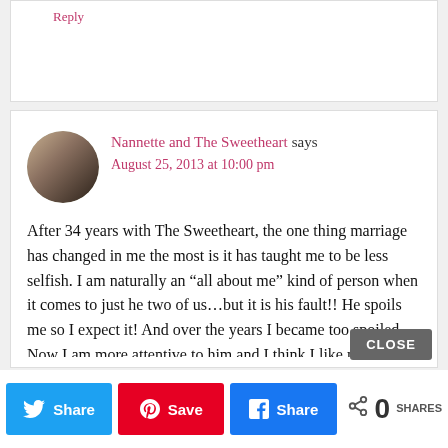Reply
Nannette and The Sweetheart says
August 25, 2013 at 10:00 pm
After 34 years with The Sweetheart, the one thing marriage has changed in me the most is it has taught me to be less selfish. I am naturally an “all about me” kind of person when it comes to just he two of us…but it is his fault!! He spoils me so I expect it! And over the years I became too spoiled. Now I am more attentive to him and I think I like myself more, lol. I hope he does
CLOSE | Twitter share | Pinterest share | Facebook share | 0 SHARES